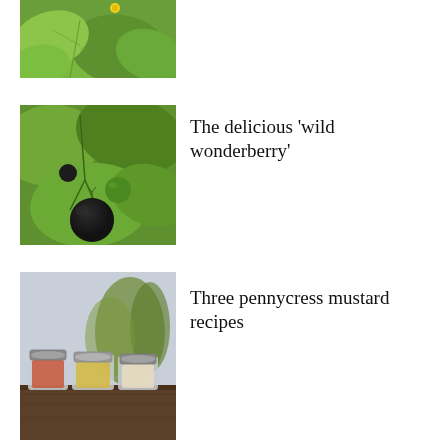[Figure (photo): Close-up of green plant leaves with a small yellow flower visible at the top]
[Figure (photo): Dark black round berries (wonderberries) hanging on a green plant with large leaves]
The delicious ‘wild wonderberry’
[Figure (photo): Three small glass jars with metal lids containing different colored mustard powders/pastes on a wooden surface]
Three pennycress mustard recipes